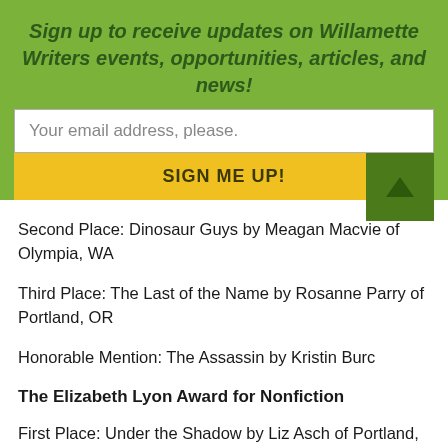Sign up to receive updates on Willamette Writers events, opportunities, articles, and news!
Your email address, please.
SIGN ME UP!
Second Place: Dinosaur Guys by Meagan Macvie of Olympia, WA
Third Place: The Last of the Name by Rosanne Parry of Portland, OR
Honorable Mention: The Assassin by Kristin Burc
The Elizabeth Lyon Award for Nonfiction
First Place: Under the Shadow by Liz Asch of Portland, OR
Second Place: Choice is a Heavy Thing by Mary